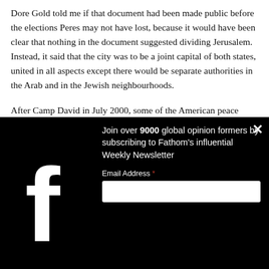Dore Gold told me if that document had been made public before the elections Peres may not have lost, because it would have been clear that nothing in the document suggested dividing Jerusalem. Instead, it said that the city was to be a joint capital of both states, united in all aspects except there would be separate authorities in the Arab and in the Jewish neighbourhoods.
After Camp David in July 2000, some of the American peace team tried to... [text partially obscured by modal overlay]
[Figure (screenshot): A dark (black background) newsletter signup modal overlay with a Facebook 'f' logo watermark on the left. Text reads: 'Join over 9000 global opinion formers by subscribing to Fathom's influential Weekly Newsletter'. Below is an Email Address field with a red asterisk and an empty input box. A white X close button is in the top-right corner.]
PART ...
Intenti...
AJ: As... not to...